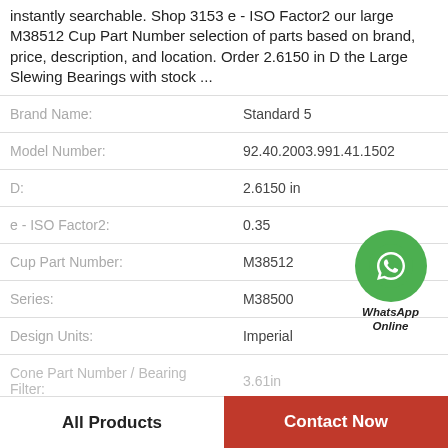instantly searchable. Shop 3153 e - ISO Factor2 our large M38512 Cup Part Number selection of parts based on brand, price, description, and location. Order 2.6150 in D the Large Slewing Bearings with stock ...
| Attribute | Value |
| --- | --- |
| Brand Name: | Standard 5 |
| Model Number: | 92.40.2003.991.41.1502 |
| D: | 2.6150 in |
| e - ISO Factor2: | 0.35 |
| Cup Part Number: | M38512 |
| Series: | M38500 |
| Design Units: | Imperial |
[Figure (logo): WhatsApp Online green circle icon with phone handset, labeled WhatsApp Online]
All Products   Contact Now